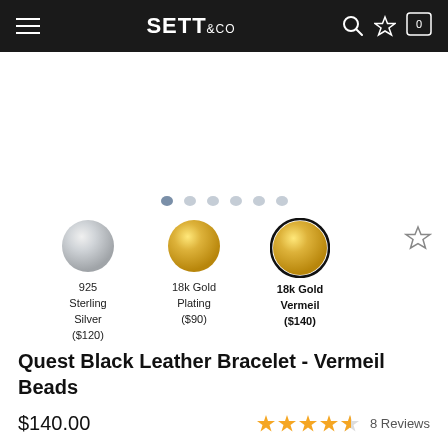SETT & CO — navigation bar with hamburger menu, logo, search, wishlist, and cart icons
[Figure (other): Carousel dot indicators — 6 dots, first one active/darker]
[Figure (other): Three material option circles: 925 Sterling Silver ($120), 18k Gold Plating ($90), 18k Gold Vermeil ($140) — last one selected with dark border]
Quest Black Leather Bracelet - Vermeil Beads
$140.00
8 Reviews